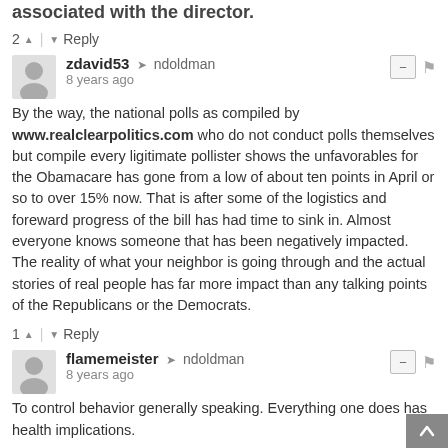associated with the director.
2 ↑ | ↓ Reply
zdavid53 → ndoldman
8 years ago
By the way, the national polls as compiled by www.realclearpolitics.com who do not conduct polls themselves but compile every ligitimate pollister shows the unfavorables for the Obamacare has gone from a low of about ten points in April or so to over 15% now. That is after some of the logistics and foreward progress of the bill has had time to sink in. Almost everyone knows someone that has been negatively impacted. The reality of what your neighbor is going through and the actual stories of real people has far more impact than any talking points of the Republicans or the Democrats.
1 ↑ | ↓ Reply
flamemeister → ndoldman
8 years ago
To control behavior generally speaking. Everything one does has health implications.